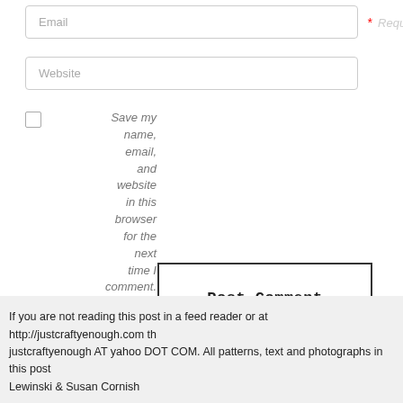Email
* Required
Website
Save my name, email, and website in this browser for the next time I comment.
Post Comment
If you are not reading this post in a feed reader or at http://justcraftyenough.com th justcraftyenough AT yahoo DOT COM. All patterns, text and photographs in this post Lewinski & Susan Cornish